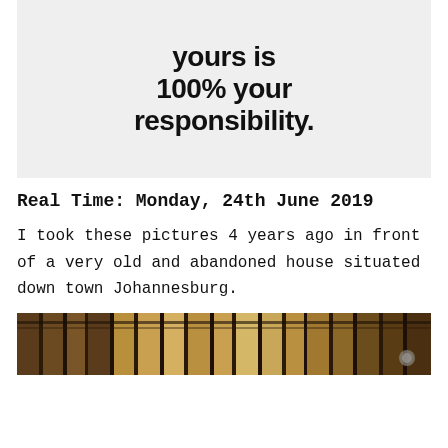[Figure (illustration): Light gray background image with bold black text reading 'This life of yours is 100% your responsibility.']
Real Time: Monday, 24th June 2019
I took these pictures 4 years ago in front of a very old and abandoned house situated down town Johannesburg.
[Figure (photo): Photo showing the top of an old corrugated metal/wooden structure, appearing dark brown and rustic, taken in downtown Johannesburg.]